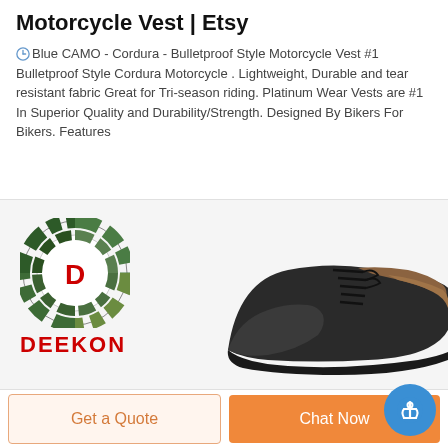Motorcycle Vest | Etsy
Blue CAMO - Cordura - Bulletproof Style Motorcycle Vest #1 Bulletproof Style Cordura Motorcycle . Lightweight, Durable and tear resistant fabric Great for Tri-season riding. Platinum Wear Vests are #1 In Superior Quality and Durability/Strength. Designed By Bikers For Bikers. Features
[Figure (logo): DEEKON brand logo with camouflage circle icon and red bold DEEKON text]
[Figure (photo): Black leather oxford lace-up shoe with brown insole, viewed from the side]
Get a Quote
Chat Now